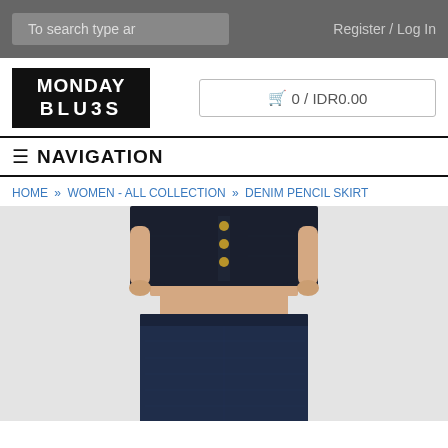To search type ar | Register / Log In
[Figure (logo): Monday Blues brand logo — black rectangle with white bold text reading MONDAY BLUES]
🛒 0 / IDR0.00
☰ NAVIGATION
HOME » WOMEN - ALL COLLECTION » DENIM PENCIL SKIRT
[Figure (photo): Product photo of a model wearing a dark navy denim crop top with gold buttons and a matching dark denim pencil skirt with a high waist, showing midriff]